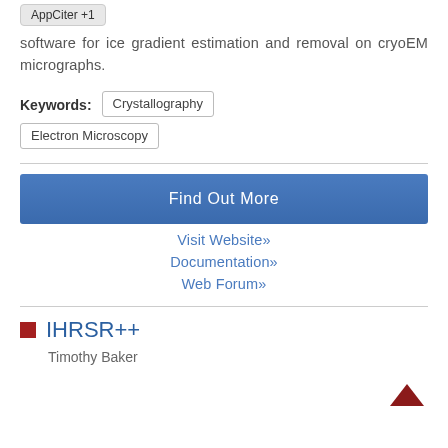AppCiter +1
software for ice gradient estimation and removal on cryoEM micrographs.
Keywords: Crystallography  Electron Microscopy
Find Out More
Visit Website»
Documentation»
Web Forum»
IHRSR++
Timothy Baker